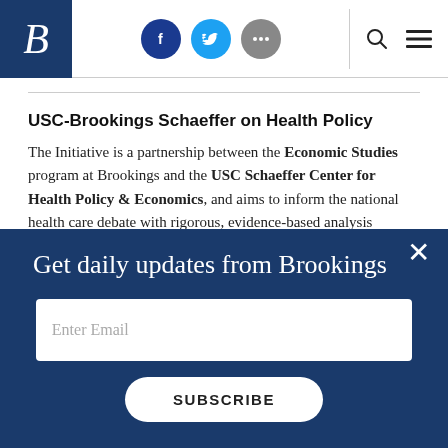Brookings Institution header with logo, social icons, search and menu
USC-Brookings Schaeffer on Health Policy
The Initiative is a partnership between the Economic Studies program at Brookings and the USC Schaeffer Center for Health Policy & Economics, and aims to inform the national health care debate with rigorous, evidence-based analysis leading to practical recommendations using the collaborative strengths of USC
Get daily updates from Brookings